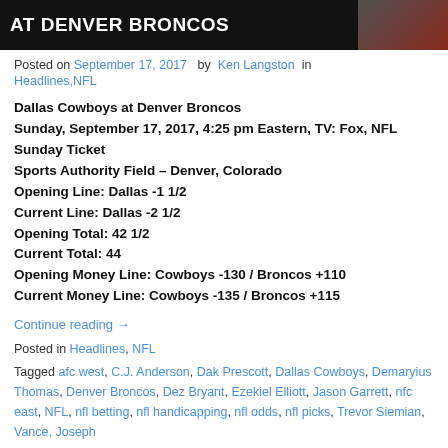AT DENVER BRONCOS
Posted on September 17, 2017 by Ken Langston in
Headlines,NFL
Dallas Cowboys at Denver Broncos
Sunday, September 17, 2017, 4:25 pm Eastern, TV: Fox, NFL Sunday Ticket
Sports Authority Field – Denver, Colorado
Opening Line: Dallas -1 1/2
Current Line: Dallas -2 1/2
Opening Total: 42 1/2
Current Total: 44
Opening Money Line: Cowboys -130 / Broncos +110
Current Money Line: Cowboys -135 / Broncos +115
Continue reading →
Posted in Headlines, NFL
Tagged afc west, C.J. Anderson, Dak Prescott, Dallas Cowboys, Demaryius Thomas, Denver Broncos, Dez Bryant, Ezekiel Elliott, Jason Garrett, nfc east, NFL, nfl betting, nfl handicapping, nfl odds, nfl picks, Trevor Siemian, Vance, Joseph